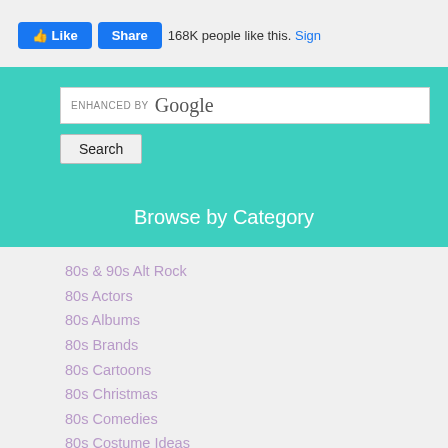[Figure (screenshot): Facebook Like and Share buttons with '168K people like this. Sign' text]
[Figure (screenshot): Google enhanced search box with Search button on teal background]
Browse by Category
80s & 90s Alt Rock
80s Actors
80s Albums
80s Brands
80s Cartoons
80s Christmas
80s Comedies
80s Costume Ideas
80s Costume Pictures
80s Cover Bands
80s Decorations
80s Hair